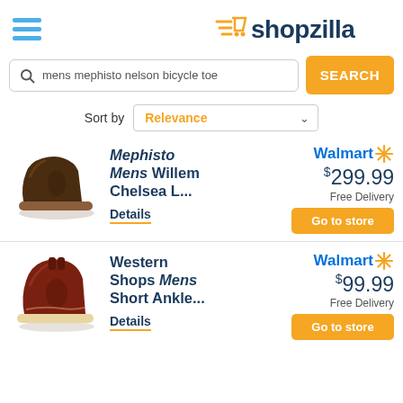shopzilla
mens mephisto nelson bicycle toe
Sort by Relevance
Mephisto Mens Willem Chelsea L... Details
Walmart $299.99 Free Delivery Go to store
Western Shops Mens Short Ankle... Details
Walmart $99.99 Free Delivery Go to store